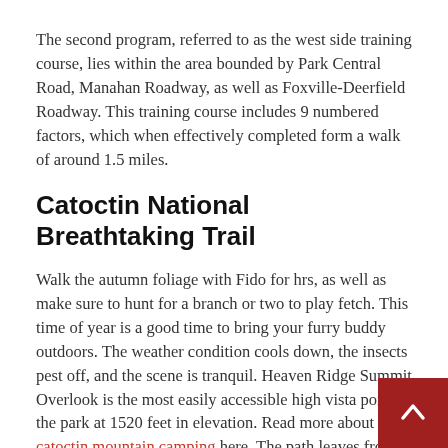The second program, referred to as the west side training course, lies within the area bounded by Park Central Road, Manahan Roadway, as well as Foxville-Deerfield Roadway. This training course includes 9 numbered factors, which when effectively completed form a walk of around 1.5 miles.
Catoctin National Breathtaking Trail
Walk the autumn foliage with Fido for hrs, as well as make sure to hunt for a branch or two to play fetch. This time of year is a good time to bring your furry buddy outdoors. The weather condition cools down, the insects pest off, and the scene is tranquil. Heaven Ridge Summit Overlook is the most easily accessible high vista point in the park at 1520 feet in elevation. Read more about catoctin mountain camping here. The path leaves fr… Hog Rock Parking Area as well as is a brief, gradual reach the view. This vista provides a lovely view to the north of